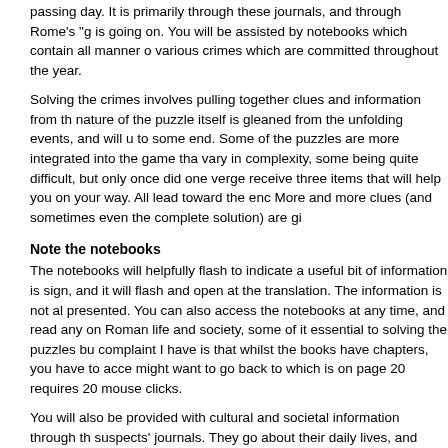passing day. It is primarily through these journals, and through Rome's "g is going on. You will be assisted by notebooks which contain all manner o various crimes which are committed throughout the year.
Solving the crimes involves pulling together clues and information from th nature of the puzzle itself is gleaned from the unfolding events, and will u to some end. Some of the puzzles are more integrated into the game tha vary in complexity, some being quite difficult, but only once did one verge receive three items that will help you on your way. All lead toward the enc More and more clues (and sometimes even the complete solution) are gi
Note the notebooks
The notebooks will helpfully flash to indicate a useful bit of information is sign, and it will flash and open at the translation. The information is not al presented. You can also access the notebooks at any time, and read any on Roman life and society, some of it essential to solving the puzzles bu complaint I have is that whilst the books have chapters, you have to acce might want to go back to which is on page 20 requires 20 mouse clicks.
You will also be provided with cultural and societal information through th suspects' journals. They go about their daily lives, and comment on much They also give personal insights into their fears, suspicions and darkest secrets.
Name the culprit
Just prior to the end of the year, if you have done everything you should, will have to decide who the culprit is, and then attempt to stop them. The ending you get will depend on how successful you have been. If Rome b and is sacked by the Goths, clearly you failed to stop Calamitus. One tip though is to save at the point when you are asked to choose a suspect, a